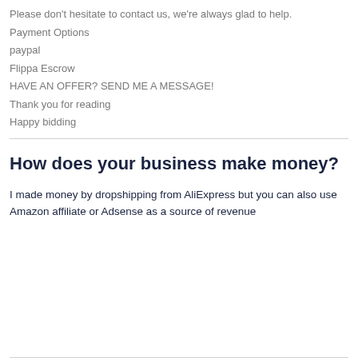Please don't hesitate to contact us, we're always glad to help.
Payment Options
paypal
Flippa Escrow
HAVE AN OFFER? SEND ME A MESSAGE!
Thank you for reading
Happy bidding
How does your business make money?
I made money by dropshipping from AliExpress but you can also use Amazon affiliate or Adsense as a source of revenue